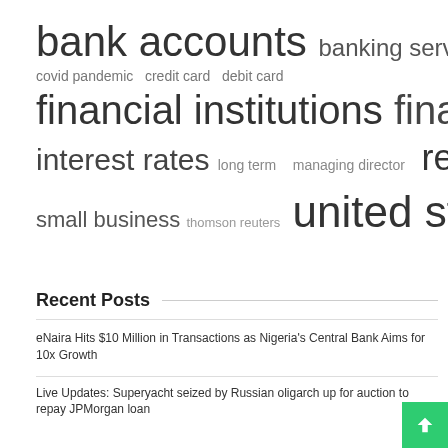[Figure (infographic): Tag cloud with finance-related keywords in varying font sizes indicating frequency/importance. Terms include: bank accounts, banking services, central bank, covid pandemic, credit card, debit card, financial institutions, financial services, interest rates, long term, managing director, real estate, small business, thomson reuters, united states.]
Recent Posts
eNaira Hits $10 Million in Transactions as Nigeria's Central Bank Aims for 10x Growth
Live Updates: Superyacht seized by Russian oligarch up for auction to repay JPMorgan loan